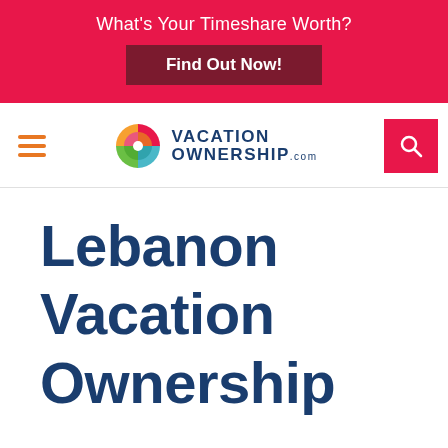What's Your Timeshare Worth? Find Out Now!
[Figure (logo): VacationOwnership.com logo with colorful pinwheel icon and navigation bar with hamburger menu and search button]
Lebanon Vacation Ownership